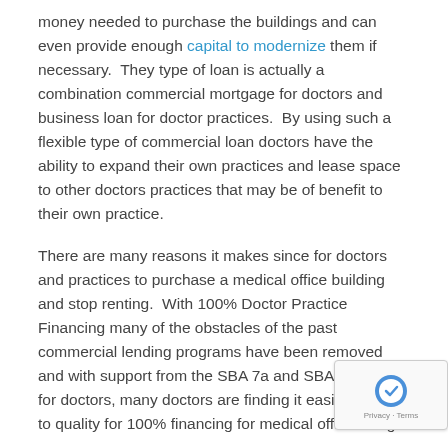money needed to purchase the buildings and can even provide enough capital to modernize them if necessary.  They type of loan is actually a combination commercial mortgage for doctors and business loan for doctor practices.  By using such a flexible type of commercial loan doctors have the ability to expand their own practices and lease space to other doctors practices that may be of benefit to their own practice.
There are many reasons it makes since for doctors and practices to purchase a medical office building and stop renting.  With 100% Doctor Practice Financing many of the obstacles of the past commercial lending programs have been removed and with support from the SBA 7a and SBA 504 loan for doctors, many doctors are finding it easier than ever to quality for 100% financing for medical office buildings.